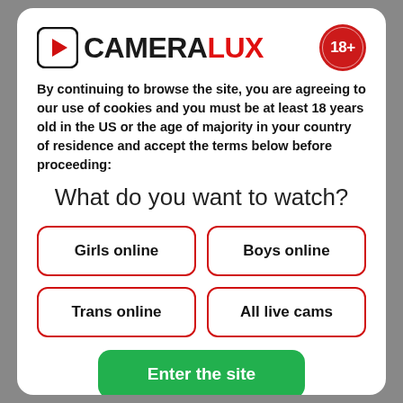[Figure (logo): CameraLux logo with play button icon and 18+ badge]
By continuing to browse the site, you are agreeing to our use of cookies and you must be at least 18 years old in the US or the age of majority in your country of residence and accept the terms below before proceeding:
What do you want to watch?
Girls online
Boys online
Trans online
All live cams
Enter the site